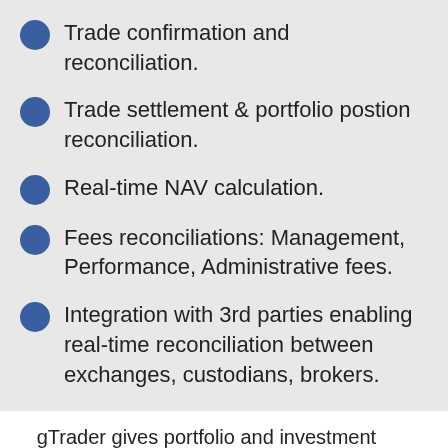Trade confirmation and reconciliation.
Trade settlement & portfolio postion reconciliation.
Real-time NAV calculation.
Fees reconciliations: Management, Performance, Administrative fees.
Integration with 3rd parties enabling real-time reconciliation between exchanges, custodians, brokers.
gTrader gives portfolio and investment m... i... m... highly regulated.